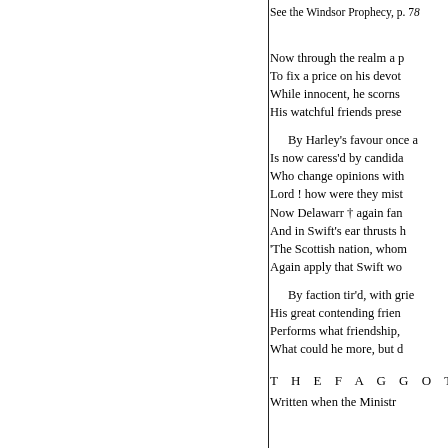See the Windsor Prophecy, p. 78
Now through the realm a p[anic voice]
To fix a price on his devot[ion]
While innocent, he scorns []
His watchful friends prese[rve]

By Harley's favour once a[]
Is now caress'd by candida[te]
Who change opinions with[]
Lord ! how were they mist[aken]
Now Delawarr † again fan[]
And in Swift's ear thrusts h[is]
'The Scottish nation, whom[]
Again apply that Swift wo[]

By faction tir'd, with grie[f]
His great contending frien[d]
Performs what friendship, []
What could he more, but d[]
T H E F A G G O T.
Written when the Ministr[y]